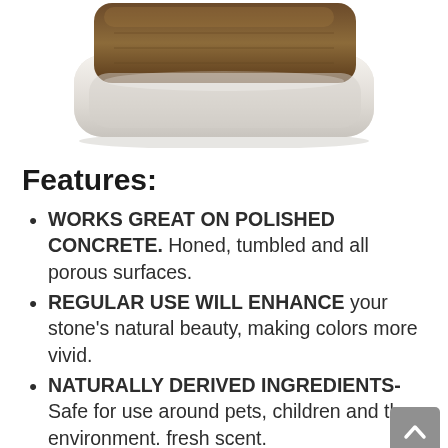[Figure (photo): Product image of a white rounded rectangular soap dish or tray with a dark/brown decorative element on top, shown against a white background.]
Features:
WORKS GREAT ON POLISHED CONCRETE. Honed, tumbled and all porous surfaces.
REGULAR USE WILL ENHANCE your stone’s natural beauty, making colors more vivid.
NATURALLY DERIVED INGREDIENTS- Safe for use around pets, children and the environment. fresh scent.
PH NEUTRAL, BIODEGRADABLE